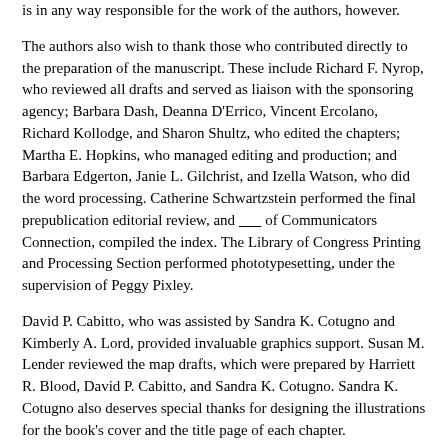is in any way responsible for the work of the authors, however.
The authors also wish to thank those who contributed directly to the preparation of the manuscript. These include Richard F. Nyrop, who reviewed all drafts and served as liaison with the sponsoring agency; Barbara Dash, Deanna D'Errico, Vincent Ercolano, Richard Kollodge, and Sharon Shultz, who edited the chapters; Martha E. Hopkins, who managed editing and production; and Barbara Edgerton, Janie L. Gilchrist, and Izella Watson, who did the word processing. Catherine Schwartzstein performed the final prepublication editorial review, and ______ of Communicators Connection, compiled the index. The Library of Congress Printing and Processing Section performed phototypesetting, under the supervision of Peggy Pixley.
David P. Cabitto, who was assisted by Sandra K. Cotugno and Kimberly A. Lord, provided invaluable graphics support. Susan M. Lender reviewed the map drafts, which were prepared by Harriett R. Blood, David P. Cabitto, and Sandra K. Cotugno. Sandra K. Cotugno also deserves special thanks for designing the illustrations for the book's cover and the title page of each chapter.
The authors also would like to thank several individuals who provided research support. Arvies J. Staton supplied information on military ranks and insignia, and Karen M. Sturges-Vera wrote